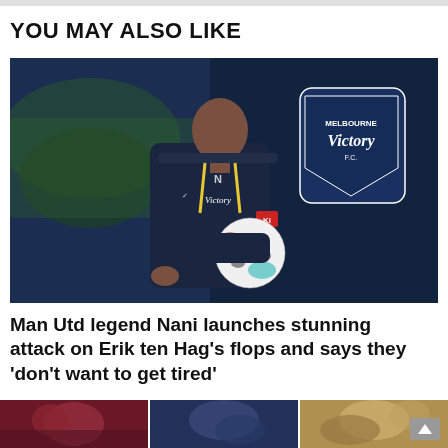YOU MAY ALSO LIKE
[Figure (photo): Man wearing Melbourne Victory FC dark navy tracksuit jacket with yellow drawstrings, holding a football, standing in front of Melbourne Victory FC branding/logo backdrop in a stadium setting.]
Man Utd legend Nani launches stunning attack on Erik ten Hag's flops and says they 'don't want to get tired'
[Figure (photo): Three small thumbnail images at the bottom of the page showing football/soccer related scenes.]